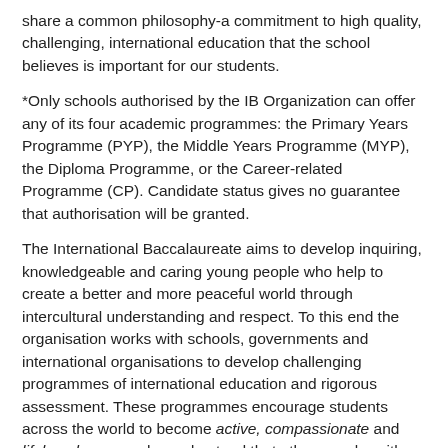share a common philosophy-a commitment to high quality, challenging, international education that the school believes is important for our students.
*Only schools authorised by the IB Organization can offer any of its four academic programmes: the Primary Years Programme (PYP), the Middle Years Programme (MYP), the Diploma Programme, or the Career-related Programme (CP). Candidate status gives no guarantee that authorisation will be granted.
The International Baccalaureate aims to develop inquiring, knowledgeable and caring young people who help to create a better and more peaceful world through intercultural understanding and respect. To this end the organisation works with schools, governments and international organisations to develop challenging programmes of international education and rigorous assessment. These programmes encourage students across the world to become active, compassionate and lifelong learners who understand that other people, with their differences, can also be right.
Term Time Teachers are committed to safeguarding and promoting the welfare of children, therefore all applicants